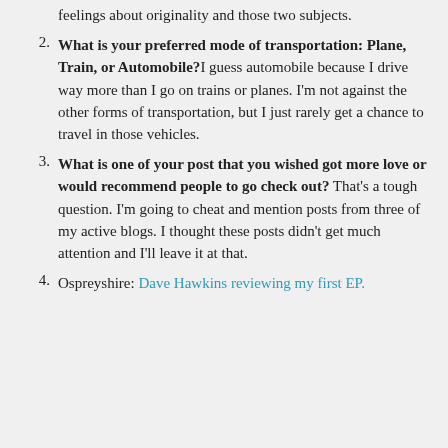feelings about originality and those two subjects.
What is your preferred mode of transportation: Plane, Train, or Automobile? I guess automobile because I drive way more than I go on trains or planes. I'm not against the other forms of transportation, but I just rarely get a chance to travel in those vehicles.
What is one of your post that you wished got more love or would recommend people to go check out? That's a tough question. I'm going to cheat and mention posts from three of my active blogs. I thought these posts didn't get much attention and I'll leave it at that.
Ospreyshire: Dave Hawkins reviewing my first EP.